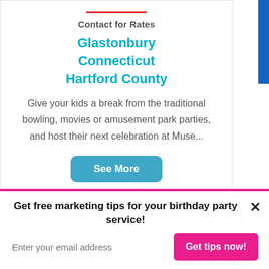Contact for Rates
Glastonbury
Connecticut
Hartford County
Give your kids a break from the traditional bowling, movies or amusement park parties, and host their next celebration at Muse...
See More
Get free marketing tips for your birthday party service!
Enter your email address
Get tips now!